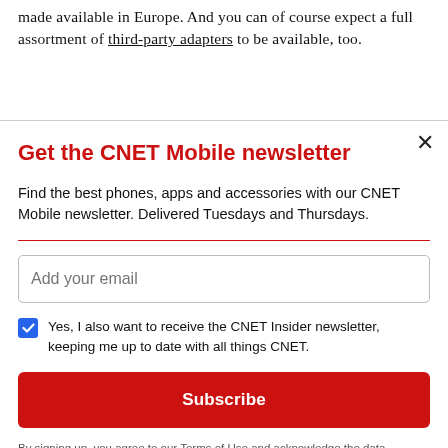made available in Europe. And you can of course expect a full assortment of third-party adapters to be available, too.
Get the CNET Mobile newsletter
Find the best phones, apps and accessories with our CNET Mobile newsletter. Delivered Tuesdays and Thursdays.
Add your email
Yes, I also want to receive the CNET Insider newsletter, keeping me up to date with all things CNET.
Subscribe
By signing up, you agree to our Terms of Use and acknowledge the data practices in our Privacy Policy. You may unsubscribe at any time.